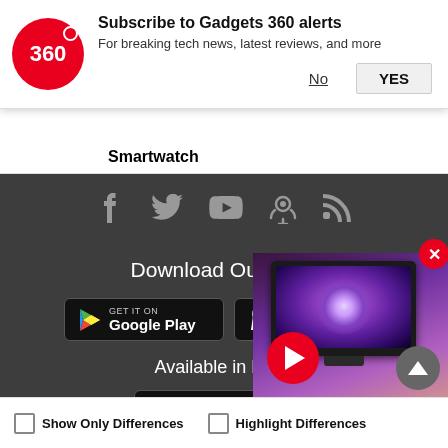[Figure (screenshot): Gadgets 360 push notification banner with logo, subscribe to alerts text, No and YES buttons]
Smartwatch
[Figure (screenshot): Dark footer section with social media icons (Facebook, Twitter, YouTube, Podcast, RSS), Download Our Apps section with Google Play and App Store buttons, Available in Hindi section, and a video overlay showing a TV with galaxy wallpaper and red play button]
Download Our Apps
Available in Hin...
Show Only Differences
Highlight Differences